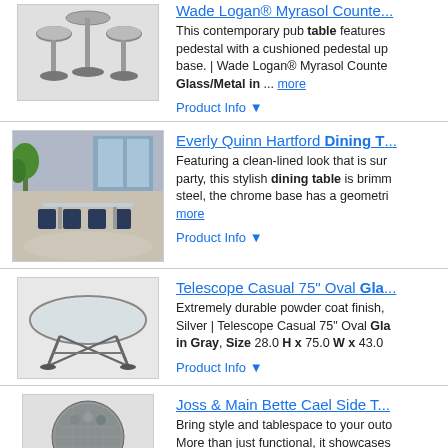[Figure (photo): Bar stools / counter height pub table set with adjustable pedestal and cushioned seats, modern chrome finish]
Wade Logan® Myrasol Counte...
This contemporary pub table features pedestal with a cushioned pedestal up base. | Wade Logan® Myrasol Counte Glass/Metal in ... more
Product Info ▼
[Figure (photo): Everly Quinn Hartford dining table in a modern dining room setting with blue chairs and a plant]
Everly Quinn Hartford Dining T...
Featuring a clean-lined look that is sur party, this stylish dining table is brimm steel, the chrome base has a geometri more
Product Info ▼
[Figure (photo): Telescope Casual 75 inch oval glass top outdoor patio table with metal frame]
Telescope Casual 75" Oval Gla...
Extremely durable powder coat finish, Silver | Telescope Casual 75" Oval Gla in Gray, Size 28.0 H x 75.0 W x 43.0
Product Info ▼
[Figure (photo): Joss & Main Bette Cael outdoor side table with mosaic-style tile top and black metal legs]
Joss & Main Bette Cael Side T...
Bring style and tablespace to your outo More than just functional, it showcases mosaic-style pattern crafted with neutr more
Product Info ▼
Uwharrie Chair Hourglass Woo...